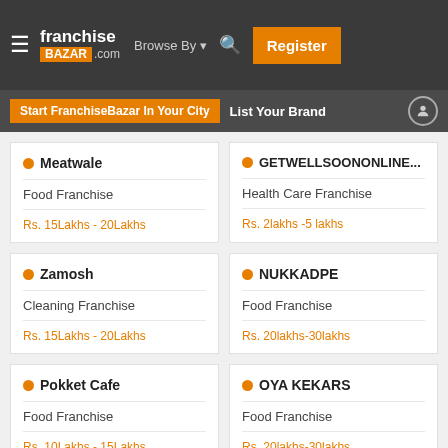franchise BAZAR .com | Browse By | Register
Start FranchiseBazar In Your City | List Your Brand
Meatwale | Food Franchise | Rs. 15Lakhs - 20Lakhs
GETWELLSOONONLINE... | Health Care Franchise | Rs. 2lakhs -5 lakhs
Zamosh | Cleaning Franchise | Rs. 15Lakhs - 20Lakhs
NUKKADPE | Food Franchise | Rs. 20lakhs-30lakhs
Pokket Cafe | Food Franchise | Rs. 10Lakhs - 15Lakhs
OYA KEKARS | Food Franchise | Rs. 20lakhs-30lakhs